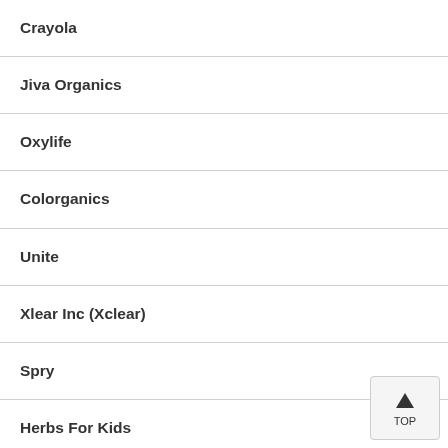Crayola
Jiva Organics
Oxylife
Colorganics
Unite
Xlear Inc (Xclear)
Spry
Herbs For Kids